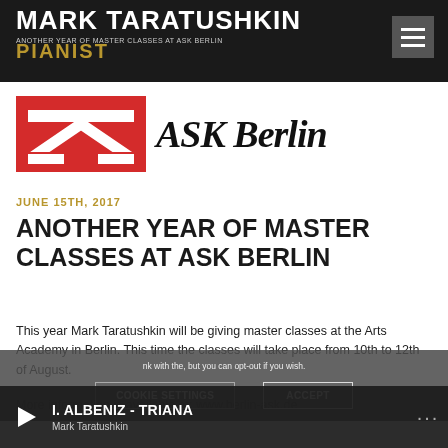MARK TARATUSHKIN PIANIST — ANOTHER YEAR OF MASTER CLASSES AT ASK BERLIN
[Figure (logo): ASK Berlin logo — red rectangle with white geometric design (inverted triangle shape), next to bold italic text 'ASK Berlin']
JUNE 15TH, 2017
ANOTHER YEAR OF MASTER CLASSES AT ASK BERLIN
This year Mark Taratushkin will be giving master classes at the Arts Academy in Berlin. This time the classes will take place from 10th to 12th of August.
More information is available at: www.berlin-ask.de
Cookie notice: COOKIE SETTINGS / ACCEPT
I. ALBENIZ - TRIANA — Mark Taratushkin (audio player)